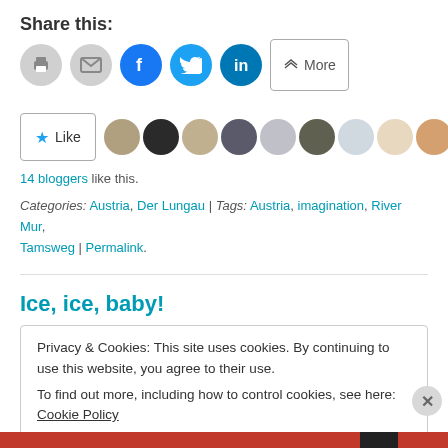Share this:
[Figure (infographic): Share buttons: print, email, Facebook, Twitter, LinkedIn, and More]
[Figure (infographic): Like button with 10 blogger avatar thumbnails]
14 bloggers like this.
Categories: Austria, Der Lungau | Tags: Austria, imagination, River Mur, Tamsweg | Permalink.
Ice, ice, baby!
Privacy & Cookies: This site uses cookies. By continuing to use this website, you agree to their use.
To find out more, including how to control cookies, see here: Cookie Policy
Close and accept